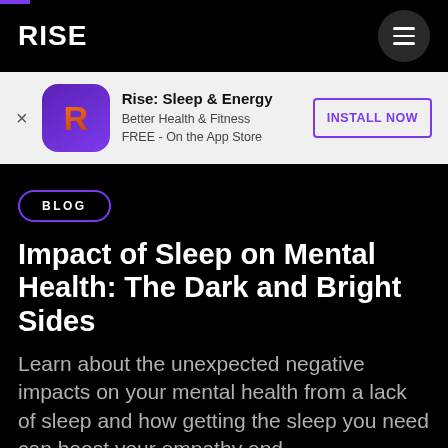RISE
[Figure (screenshot): Rise: Sleep & Energy app install banner with app icon (purple background with orange R letter), app name 'Rise: Sleep & Energy', subtitle 'Better Health & Fitness / FREE - On the App Store', and 'INSTALL NOW' button with purple border]
BLOG
Impact of Sleep on Mental Health: The Dark and Bright Sides
Learn about the unexpected negative impacts on your mental health from a lack of sleep and how getting the sleep you need can boost your empathy and